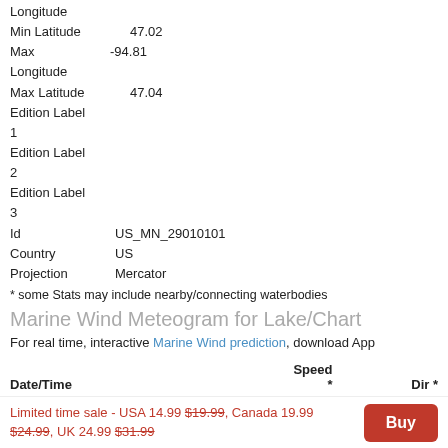Longitude
Min Latitude 47.02
Max Longitude -94.81
Max Latitude 47.04
Edition Label
1
Edition Label
2
Edition Label
3
Id   US_MN_29010101
Country   US
Projection   Mercator
* some Stats may include nearby/connecting waterbodies
Marine Wind Meteogram for Lake/Chart
For real time, interactive Marine Wind prediction, download App
| Date/Time | Speed * | Dir * |
| --- | --- | --- |
| 09/04 Sun 12:00PM | 1.97 | 305.82 |
Limited time sale - USA 14.99 $19.99, Canada 19.99 $24.99, UK 24.99 $31.99